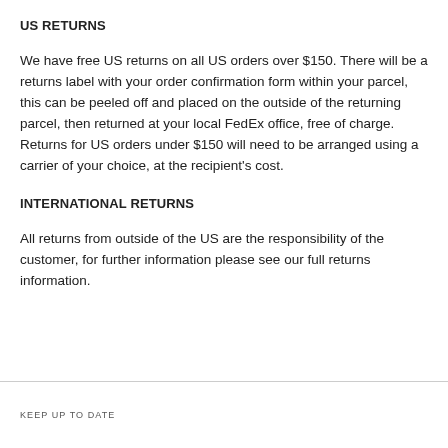US RETURNS
We have free US returns on all US orders over $150. There will be a returns label with your order confirmation form within your parcel, this can be peeled off and placed on the outside of the returning parcel, then returned at your local FedEx office, free of charge. Returns for US orders under $150 will need to be arranged using a carrier of your choice, at the recipient's cost.
INTERNATIONAL RETURNS
All returns from outside of the US are the responsibility of the customer, for further information please see our full returns information.
KEEP UP TO DATE